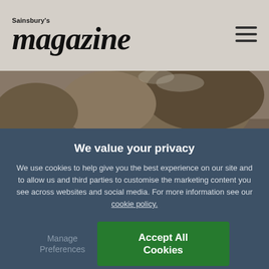Sainsbury's magazine
[Figure (photo): Close-up photo of food cooking on a barbecue grill with charcoal and smoke, rocks visible in background]
We value your privacy
We use cookies to help give you the best experience on our site and to allow us and third parties to customise the marketing content you see across websites and social media. For more information see our cookie policy.
Manage Preferences
Accept All Cookies